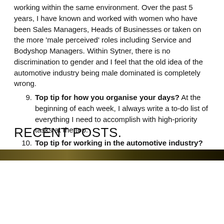working within the same environment. Over the past 5 years, I have known and worked with women who have been Sales Managers, Heads of Businesses or taken on the more 'male perceived' roles including Service and Bodyshop Managers. Within Sytner, there is no discrimination to gender and I feel that the old idea of the automotive industry being male dominated is completely wrong.
9. Top tip for how you organise your days? At the beginning of each week, I always write a to-do list of everything I need to accomplish with high-priority tasks at the top.
10. Top tip for working in the automotive industry? Be adaptable, outgoing and passionate.
RECENT POSTS.